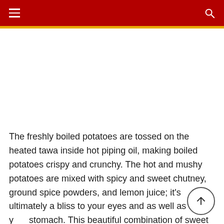≡  🔍
[Figure (photo): White/blank image area below the header navigation bar]
The freshly boiled potatoes are tossed on the heated tawa inside hot piping oil, making boiled potatoes crispy and crunchy. The hot and mushy potatoes are mixed with spicy and sweet chutney, ground spice powders, and lemon juice; it's ultimately a bliss to your eyes and as well as for your stomach. This beautiful combination of sweet and spicy potatoes is to die for at Pappu's chaat corner.